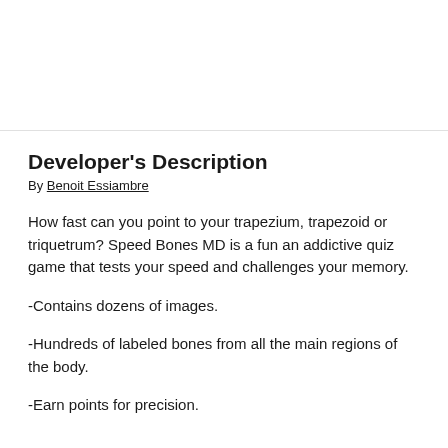Developer's Description
By Benoit Essiambre
How fast can you point to your trapezium, trapezoid or triquetrum? Speed Bones MD is a fun an addictive quiz game that tests your speed and challenges your memory.
-Contains dozens of images.
-Hundreds of labeled bones from all the main regions of the body.
-Earn points for precision.